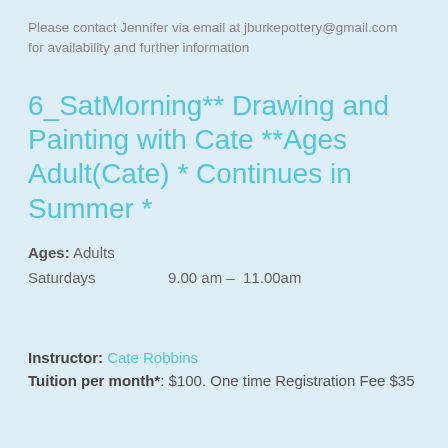Please contact Jennifer via email at jburkepottery@gmail.com for availability and further information
6_SatMorning** Drawing and Painting with Cate **Ages Adult(Cate) * Continues in Summer *
Ages: Adults
Saturdays    9.00 am –  11.00am
Instructor: Cate Robbins
Tuition per month*: $100. One time Registration Fee $35